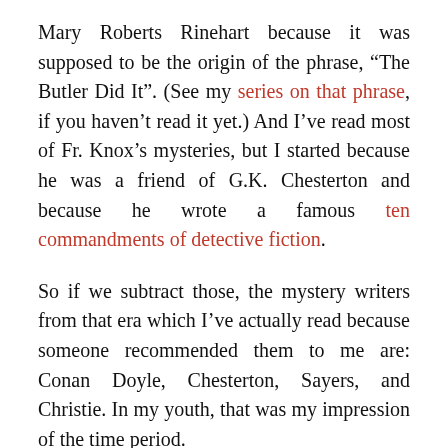Mary Roberts Rinehart because it was supposed to be the origin of the phrase, “The Butler Did It”. (See my series on that phrase, if you haven’t read it yet.) And I’ve read most of Fr. Knox’s mysteries, but I started because he was a friend of G.K. Chesterton and because he wrote a famous ten commandments of detective fiction.
So if we subtract those, the mystery writers from that era which I’ve actually read because someone recommended them to me are: Conan Doyle, Chesterton, Sayers, and Christie. In my youth, that was my impression of the time period.
As I grew older, I realized that there must be other